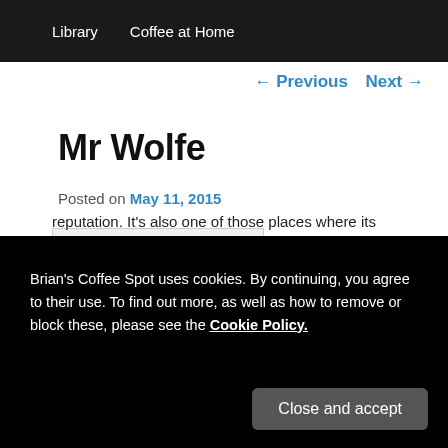Library   Coffee at Home
← Previous   Next →
Mr Wolfe
Posted on May 11, 2015
[Figure (screenshot): Screenshot of a webpage image partially visible, dark gray background with text/logo marks]
Brian's Coffee Spot uses cookies. By continuing, you agree to their use. To find out more, as well as how to remove or block these, please see the Cookie Policy.
Close and accept
reputation. It's also one of those places where its